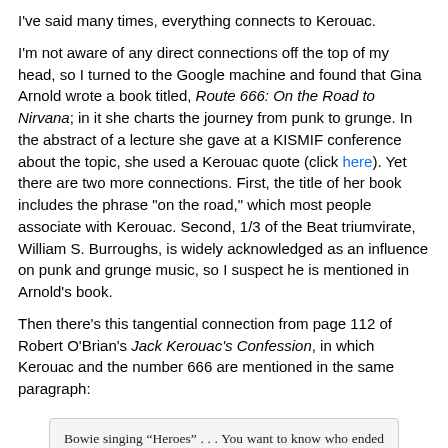I've said many times, everything connects to Kerouac.
I'm not aware of any direct connections off the top of my head, so I turned to the Google machine and found that Gina Arnold wrote a book titled, Route 666: On the Road to Nirvana; in it she charts the journey from punk to grunge. In the abstract of a lecture she gave at a KISMIF conference about the topic, she used a Kerouac quote (click here). Yet there are two more connections. First, the title of her book includes the phrase "on the road," which most people associate with Kerouac. Second, 1/3 of the Beat triumvirate, William S. Burroughs, is widely acknowledged as an influence on punk and grunge music, so I suspect he is mentioned in Arnold's book.
Then there's this tangential connection from page 112 of Robert O'Brian's Jack Kerouac's Confession, in which Kerouac and the number 666 are mentioned in the same paragraph:
Bowie singing “Heroes” . . . You want to know who ended the Cold War? Jack